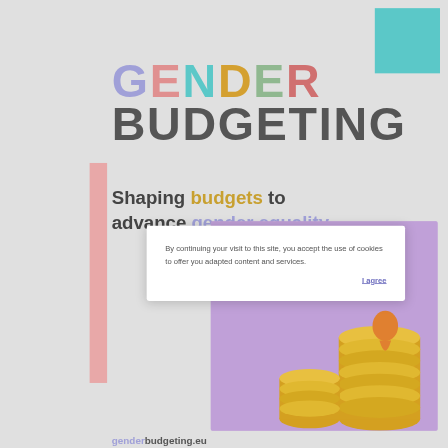GENDER BUDGETING
Shaping budgets to advance gender equality
By continuing your visit to this site, you accept the use of cookies to offer you adapted content and services.
I agree
[Figure (illustration): Illustration of a person standing on stacked gold coins against a purple background]
genderbudgeting.eu
BRUSSELS CALL
[Figure (illustration): Bottom partial illustration with purple/lavender background and white geometric shapes]